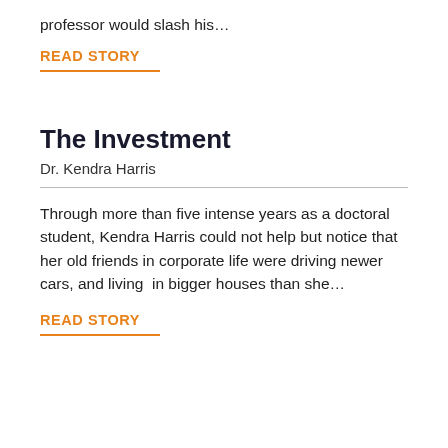professor would slash his…
READ STORY
The Investment
Dr. Kendra Harris
Through more than five intense years as a doctoral student, Kendra Harris could not help but notice that her old friends in corporate life were driving newer cars, and living in bigger houses than she…
READ STORY